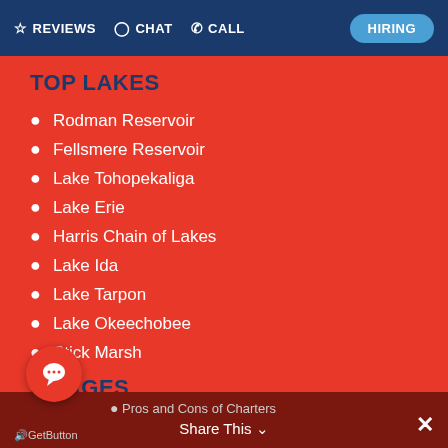REVIEWS  CHAT  CALL  HIRING
TOP LAKES
Rodman Reservoir
Fellsmere Reservoir
Lake Tohopekaliga
Lake Erie
Harris Chain of Lakes
Lake Ida
Lake Tarpon
Lake Okeechobee
Stick Marsh
P PAGES
GetButton  Share This  ✕
Pros and Cons of Charters